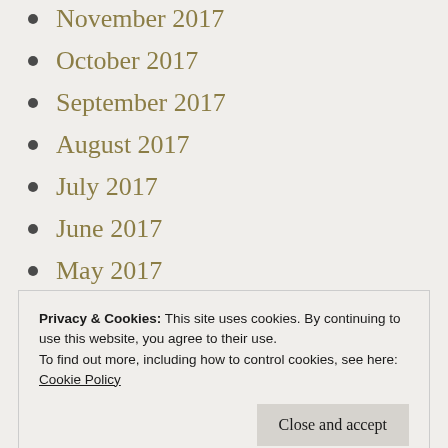November 2017
October 2017
September 2017
August 2017
July 2017
June 2017
May 2017
April 2017
March 2017
February 2017
Privacy & Cookies: This site uses cookies. By continuing to use this website, you agree to their use.
To find out more, including how to control cookies, see here:
Cookie Policy
August 2016